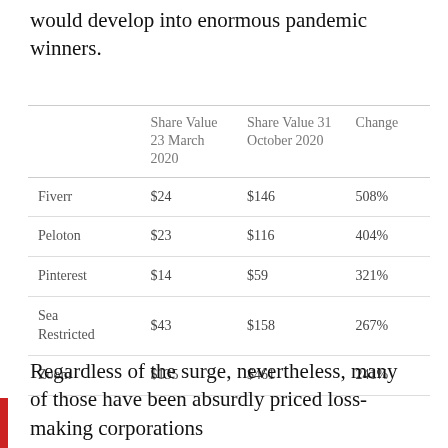would develop into enormous pandemic winners.
|  | Share Value 23 March 2020 | Share Value 31 October 2020 | Change |
| --- | --- | --- | --- |
| Fiverr | $24 | $146 | 508% |
| Peloton | $23 | $116 | 404% |
| Pinterest | $14 | $59 | 321% |
| Sea Restricted | $43 | $158 | 267% |
| Zoom | $135 | $461 | 241% |
Regardless of the surge, nevertheless, many of those have been absurdly priced loss-making corporations